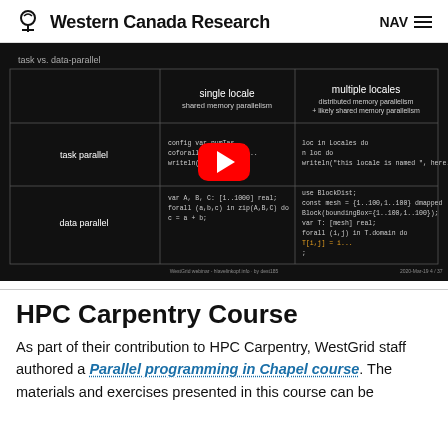Western Canada Research | NAV
[Figure (screenshot): YouTube-style video thumbnail showing a slide about task vs data parallelism in Chapel programming, with a red play button overlay. Slide shows a table comparing single locale vs multiple locales parallelism with code examples.]
HPC Carpentry Course
As part of their contribution to HPC Carpentry, WestGrid staff authored a Parallel programming in Chapel course. The materials and exercises presented in this course can be